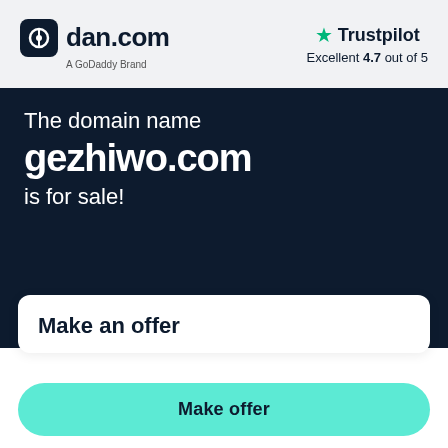[Figure (logo): dan.com logo with dark rounded square icon and text, subtitle 'A GoDoddy Brand']
[Figure (logo): Trustpilot logo with green star, text 'Trustpilot', rating 'Excellent 4.7 out of 5']
The domain name gezhiwo.com is for sale!
Make an offer
Make offer